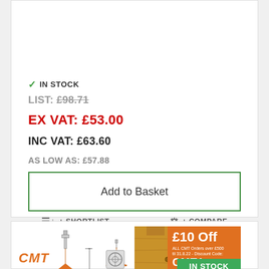✓ IN STOCK
LIST: £98.71
EX VAT: £53.00
INC VAT: £63.60
AS LOW AS: £57.88
Add to Basket
+ SHORTLIST
+ COMPARE
[Figure (photo): CMT router bit product image with technical diagram and wood piece]
£10 Off ALL CMT Orders over £500 til 31.8.22 - Discount Code: CMT10
IN STOCK